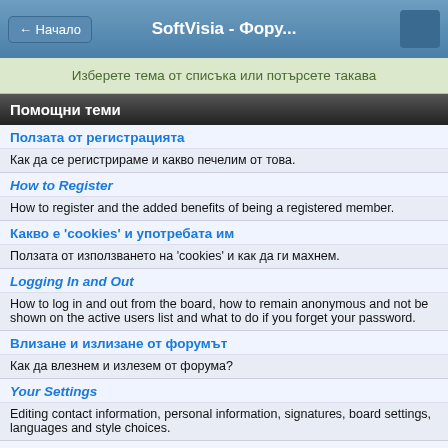← Начало   SoftVisia - Фору...
Изберете тема от списъка или потърсете такава
Помощни теми
Ползата от регистрацията
Как да се регистрираме и какво печелим от това.
How to Register
How to register and the added benefits of being a registered member.
Какво е 'cookies' и употребата им
Ползата от използването на 'cookies' и как да ги махнем.
Logging In and Out
How to log in and out from the board, how to remain anonymous and not be shown on the active users list and what to do if you forget your password.
Влизане и излизане от форумът
Как да влезнем и излезем от форума?
Your Settings
Editing contact information, personal information, signatures, board settings, languages and style choices.
Как да възстановя изгубена или забравена парола?
Как да си възстановя паролата?